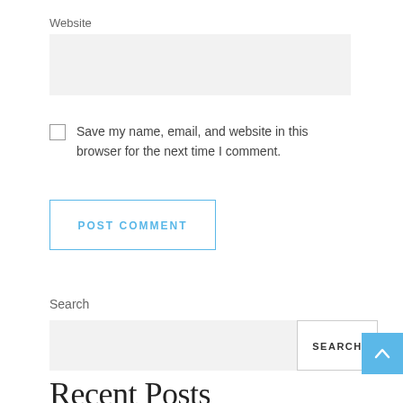Website
[Figure (other): Website text input field, light gray background]
Save my name, email, and website in this browser for the next time I comment.
POST COMMENT
Search
[Figure (other): Search input field with SEARCH button and blue scroll-to-top arrow button]
Recent Posts